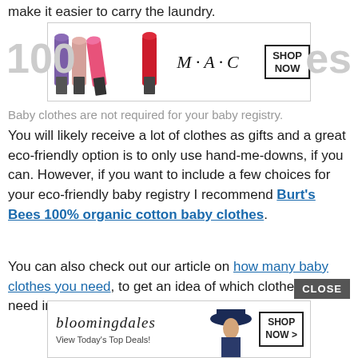make it easier to carry the laundry.
[Figure (photo): MAC Cosmetics advertisement banner showing colorful lipsticks (purple, nude, pink, red) with MAC logo and SHOP NOW button]
Baby clothes are not required for your baby registry.
You will likely receive a lot of clothes as gifts and a great eco-friendly option is to only use hand-me-downs, if you can. However, if you want to include a few choices for your eco-friendly baby registry I recommend Burt's Bees 100% organic cotton baby clothes.
You can also check out our article on how many baby clothes you need, to get an idea of which clothes you need in which size.
[Figure (photo): Bloomingdale's advertisement banner showing a woman in a hat with 'View Today's Top Deals!' and SHOP NOW button]